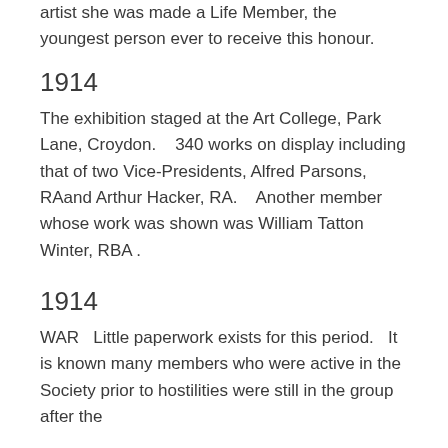artist she was made a Life Member, the youngest person ever to receive this honour.
1914
The exhibition staged at the Art College, Park Lane, Croydon.    340 works on display including that of two Vice-Presidents, Alfred Parsons, RAand Arthur Hacker, RA.    Another member whose work was shown was William Tatton Winter, RBA .
1914
WAR   Little paperwork exists for this period.   It is known many members who were active in the Society prior to hostilities were still in the group after the